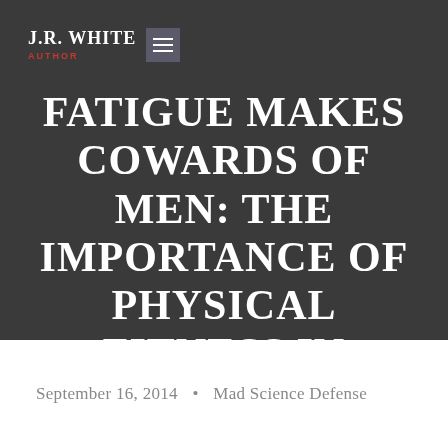J.R. WHITE AUTHOR
FATIGUE MAKES COWARDS OF MEN: THE IMPORTANCE OF PHYSICAL FITNESS IN PERSONAL DEFENSE.
September 16, 2014 • Mad Science Defense